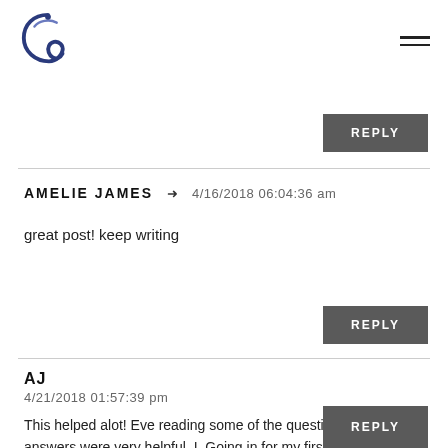Logo and navigation
REPLY
AMELIE JAMES → 4/16/2018 06:04:36 am
great post! keep writing
REPLY
AJ
4/21/2018 01:57:39 pm
This helped alot! Eve reading some of the questions and answers were very helpful. I. Going in for my first professional 60min massage and hoping for the best. I get ticklish sometimes doe si well see haha
REPLY